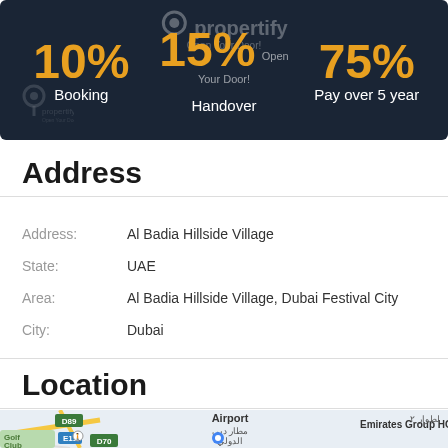[Figure (infographic): Propertify payment plan banner: 10% Booking, 15% Handover, 75% Pay over 5 year on dark background]
Address
Address: Al Badia Hillside Village
State: UAE
Area: Al Badia Hillside Village, Dubai Festival City
City: Dubai
Location
[Figure (map): Google map showing area near Dubai International Airport, Emirates Group HQ, Golf Club, with road labels D89, D70, E11]